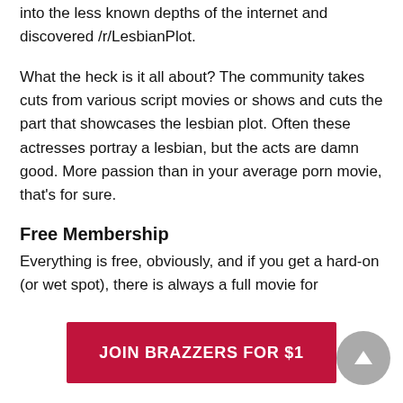into the less known depths of the internet and discovered /r/LesbianPlot.
What the heck is it all about? The community takes cuts from various script movies or shows and cuts the part that showcases the lesbian plot. Often these actresses portray a lesbian, but the acts are damn good. More passion than in your average porn movie, that’s for sure.
Free Membership
Everything is free, obviously, and if you get a hard-on (or wet spot), there is always a full movie for
JOIN BRAZZERS FOR $1